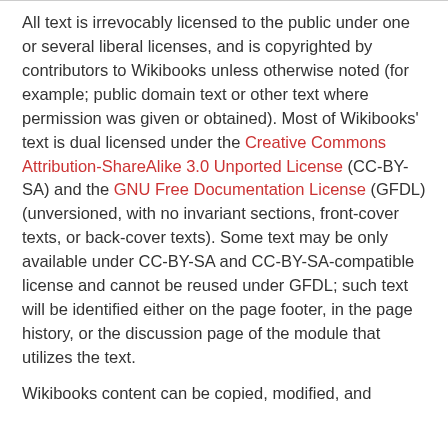All text is irrevocably licensed to the public under one or several liberal licenses, and is copyrighted by contributors to Wikibooks unless otherwise noted (for example; public domain text or other text where permission was given or obtained). Most of Wikibooks' text is dual licensed under the Creative Commons Attribution-ShareAlike 3.0 Unported License (CC-BY-SA) and the GNU Free Documentation License (GFDL) (unversioned, with no invariant sections, front-cover texts, or back-cover texts). Some text may be only available under CC-BY-SA and CC-BY-SA-compatible license and cannot be reused under GFDL; such text will be identified either on the page footer, in the page history, or the discussion page of the module that utilizes the text.
Wikibooks content can be copied, modified, and